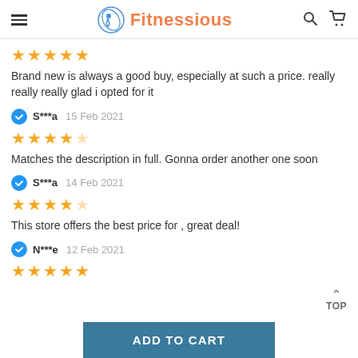Fitnessious
Brand new is always a good buy, especially at such a price. really really really glad i opted for it
S***a  15 Feb 2021
Matches the description in full. Gonna order another one soon
S***a  14 Feb 2021
This store offers the best price for , great deal!
N***e  12 Feb 2021